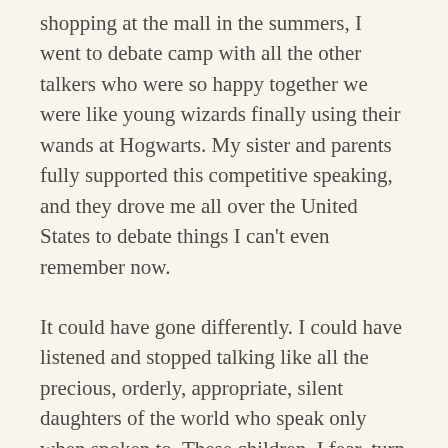shopping at the mall in the summers, I went to debate camp with all the other talkers who were so happy together we were like young wizards finally using their wands at Hogwarts. My sister and parents fully supported this competitive speaking, and they drove me all over the United States to debate things I can't even remember now.
It could have gone differently. I could have listened and stopped talking like all the precious, orderly, appropriate, silent daughters of the world who speak only when spoken to. These children, I fear, turn in on themselves, closing tightly shut like sea anemones who open for no one.
But I didn't.
I just don't want my daughter's words lost because she's been shamed one too many times or made to